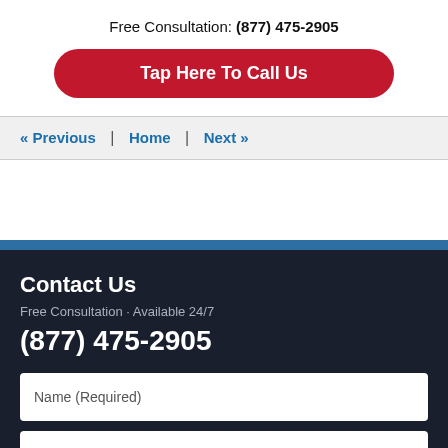Free Consultation: (877) 475-2905
Tap Here To Call Us
« Previous | Home | Next »
Contact Us
Free Consultation · Available 24/7
(877) 475-2905
Name (Required)
Email (Required)